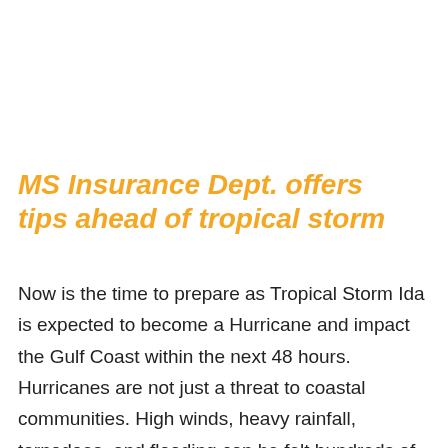MS Insurance Dept. offers tips ahead of tropical storm
Now is the time to prepare as Tropical Storm Ida is expected to become a Hurricane and impact the Gulf Coast within the next 48 hours. Hurricanes are not just a threat to coastal communities. High winds, heavy rainfall, tornadoes, and flooding can be felt hundreds of miles inland, potentially causing loss of life and catastrophic damage to property.